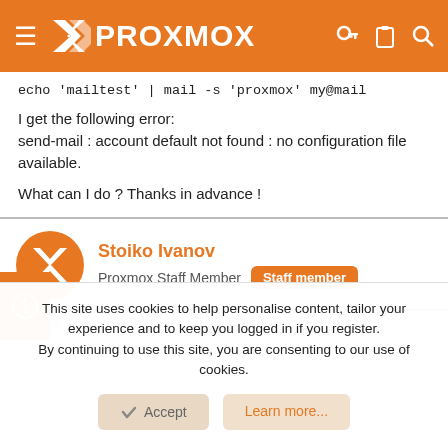Proxmox
echo 'mailtest' | mail -s 'proxmox' my@mail
I get the following error:
send-mail : account default not found : no configuration file available.

What can I do ? Thanks in advance !
Stoiko Ivanov
Proxmox Staff Member  Staff member
This site uses cookies to help personalise content, tailor your experience and to keep you logged in if you register.
By continuing to use this site, you are consenting to our use of cookies.